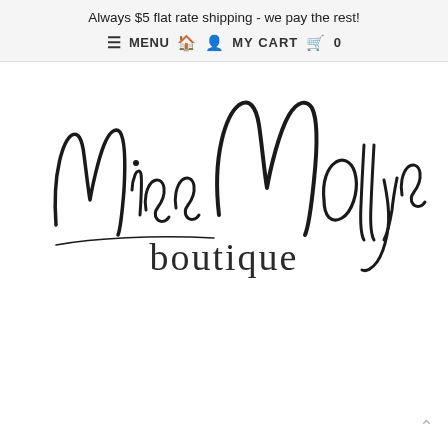Always $5 flat rate shipping - we pay the rest!
≡ MENU  🏠  👤  MY CART  🛒  0
[Figure (logo): Miss Mollys boutique cursive script logo with 'boutique' in thin sans-serif below the cursive text]